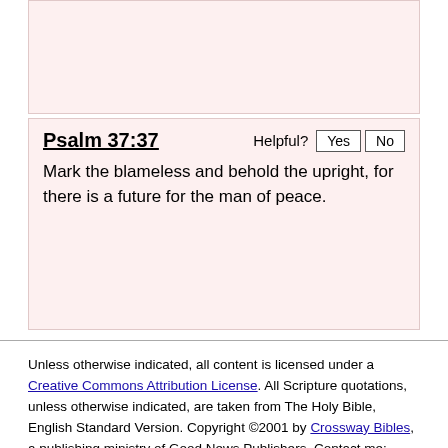[Figure (other): Pink/rose background card area at top of page (empty content area)]
Psalm 37:37
Mark the blameless and behold the upright, for there is a future for the man of peace.
Unless otherwise indicated, all content is licensed under a Creative Commons Attribution License. All Scripture quotations, unless otherwise indicated, are taken from The Holy Bible, English Standard Version. Copyright ©2001 by Crossway Bibles, a publishing ministry of Good News Publishers. Contact me: openbibleinfo (at) gmail.com.